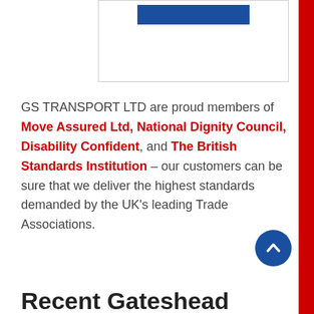[Figure (other): Partial view of a framed image with a blue horizontal bar at the top, set against a white background with a border.]
GS TRANSPORT LTD are proud members of Move Assured Ltd, National Dignity Council, Disability Confident, and The British Standards Institution – our customers can be sure that we deliver the highest standards demanded by the UK's leading Trade Associations.
[Figure (other): Dark blue circular scroll-to-top button with a white upward chevron arrow.]
Recent Gateshead